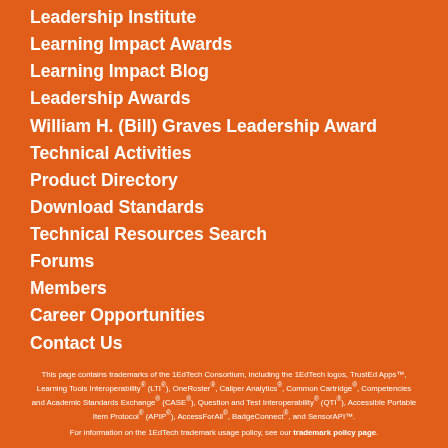Leadership Institute
Learning Impact Awards
Learning Impact Blog
Leadership Awards
William H. (Bill) Graves Leadership Award
Technical Activities
Product Directory
Download Standards
Technical Resources Search
Forums
Members
Career Opportunities
Contact Us
This page contains trademarks of the 1EdTech Consortium, including the 1EdTech logos, TrustEd Apps™, Learning Tools Interoperability® (LTI®), OneRoster®, Caliper Analytics®, Common Cartridge®, Competencies and Academic Standards Exchange® (CASE®), Question and Test Interoperability® (QTI®), Accessible Portable Item Protocol® (APIP®), AccessForAll®, BadgeConnect®, and SensorAPI™.
For information on the 1EdTech trademark usage policy, see our trademark policy page.